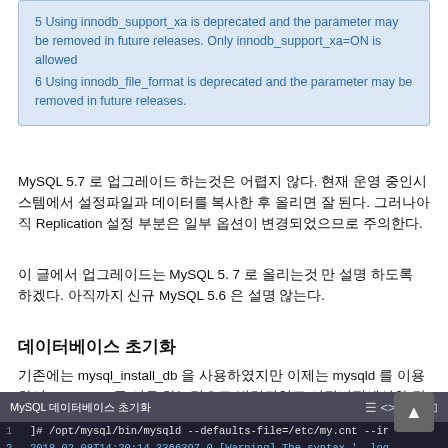5 Using innodb_support_xa is deprecated and the parameter may be removed in future releases. Only innodb_support_xa=ON is allowed
6 Using innodb_file_format is deprecated and the parameter may be removed in future releases.
MySQL 5.7 로 업그레이드 하는것은 어렵지 않다. 현재 운영 중인시스템에서 설정파일과 데이터를 복사한 후 올리면 잘 된다. 그러나아직 Replication 설정 부분은 일부 옵션이 변경되었으므로 주의한다.
이 글에서 업그레이드는 MySQL 5. 7 로 올리는것 만 설명 하도록 하겠다. 아직까지 신규 MySQL 5.6 은 설명 않는다.
데이터베이스 초기화
기존에는 mysql_install_db 을 사용하였지만 이제는 mysqld 를 이용하여 – initialize 를 이용 하는것으로 변경되었고 이전버전에서와 달리, innodb 로그도 초기화된다.
[Figure (screenshot): MySQL code block header bar with title 'MySQL 데이터베이스 초기화' and toolbar icons]
[Figure (screenshot): Terminal code block showing mysqld command line and warning output]